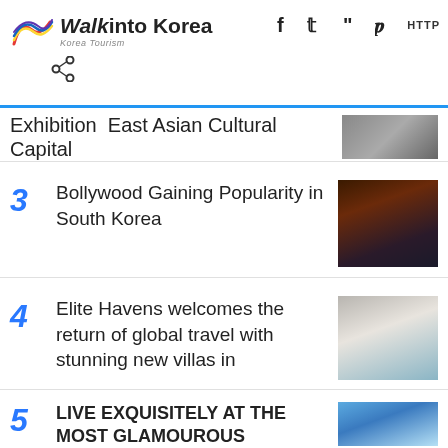Walk into Korea - Korea Tourism
Exhibition  East Asian Cultural Capital
3  Bollywood Gaining Popularity in South Korea
4  Elite Havens welcomes the return of global travel with stunning new villas in
5  LIVE EXQUISITELY AT THE MOST GLAMOUROUS DESTINATIONS